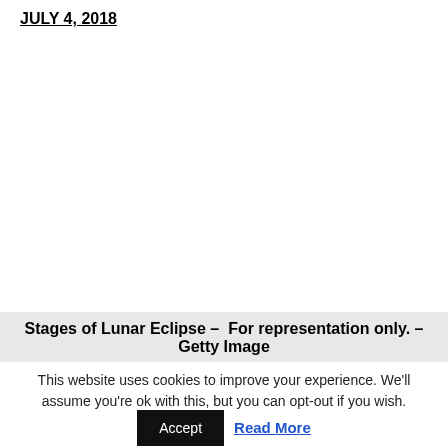JULY 4, 2018
[Figure (photo): White/blank image area representing a photo of stages of lunar eclipse]
Stages of Lunar Eclipse – For representation only. – Getty Image
This website uses cookies to improve your experience. We'll assume you're ok with this, but you can opt-out if you wish.
Accept   Read More